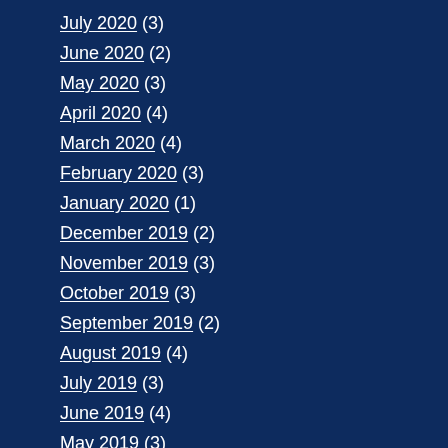July 2020 (3)
June 2020 (2)
May 2020 (3)
April 2020 (4)
March 2020 (4)
February 2020 (3)
January 2020 (1)
December 2019 (2)
November 2019 (3)
October 2019 (3)
September 2019 (2)
August 2019 (4)
July 2019 (3)
June 2019 (4)
May 2019 (3)